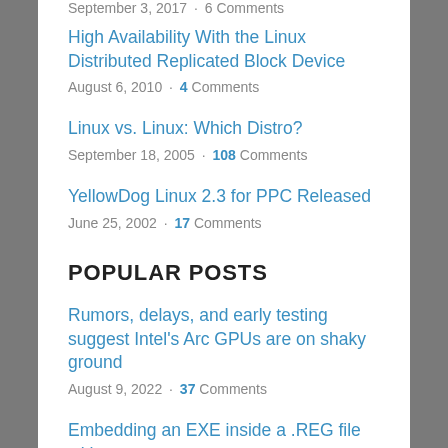September 3, 2017 · 6 Comments
High Availability With the Linux Distributed Replicated Block Device
August 6, 2010 · 4 Comments
Linux vs. Linux: Which Distro?
September 18, 2005 · 108 Comments
YellowDog Linux 2.3 for PPC Released
June 25, 2002 · 17 Comments
POPULAR POSTS
Rumors, delays, and early testing suggest Intel's Arc GPUs are on shaky ground
August 9, 2022 · 37 Comments
Embedding an EXE inside a .REG file with